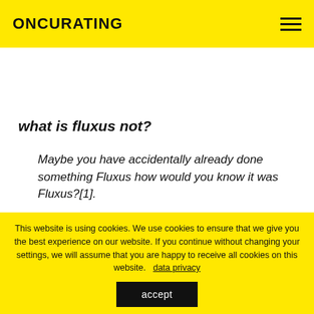ONCURATING
what is fluxus not?
Maybe you have accidentally already done something Fluxus how would you know it was Fluxus?[1].
When I knew George, he regularly wore an old mustard-colored cardigan with a zip front and a
This website is using cookies. We use cookies to ensure that we give you the best experience on our website. If you continue without changing your settings, we will assume that you are happy to receive all cookies on this website. data privacy accept